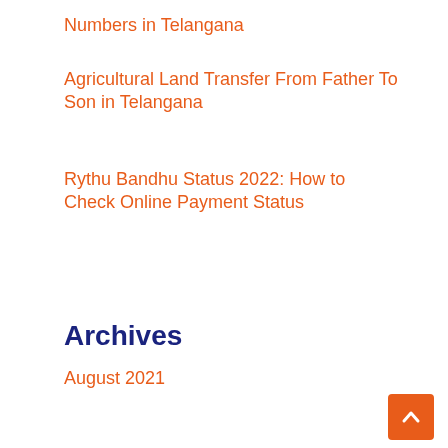Numbers in Telangana
Agricultural Land Transfer From Father To Son in Telangana
Rythu Bandhu Status 2022: How to Check Online Payment Status
Archives
August 2021